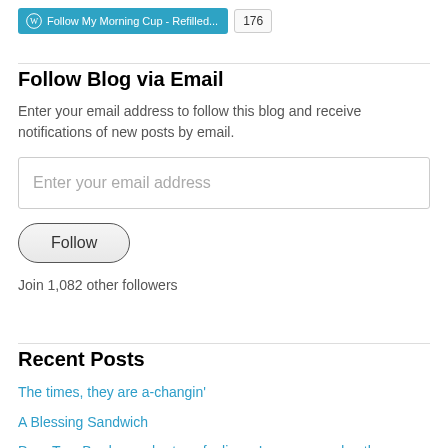[Figure (screenshot): WordPress Follow button with label 'Follow My Morning Cup - Refilled...' in teal/blue, and a follower count badge showing 176]
Follow Blog via Email
Enter your email address to follow this blog and receive notifications of new posts by email.
Enter your email address
Follow
Join 1,082 other followers
Recent Posts
The times, they are a-changin'
A Blessing Sandwich
Dear Tom Brady, you hurt my feelings. Love, a grandmother